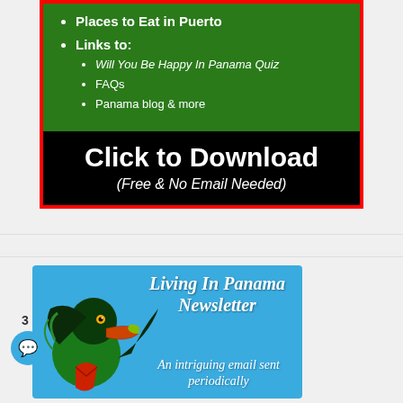Places to Eat in Puerto
Links to:
Will You Be Happy In Panama Quiz
FAQs
Panama blog & more
[Figure (infographic): Black background call-to-action block: 'Click to Download' in large white bold text, '(Free & No Email Needed)' in white italic below]
[Figure (infographic): Blue banner for Living In Panama Newsletter featuring a toucan illustration on left and italic text 'Living In Panama Newsletter' and 'An intriguing email sent periodically' on blue background]